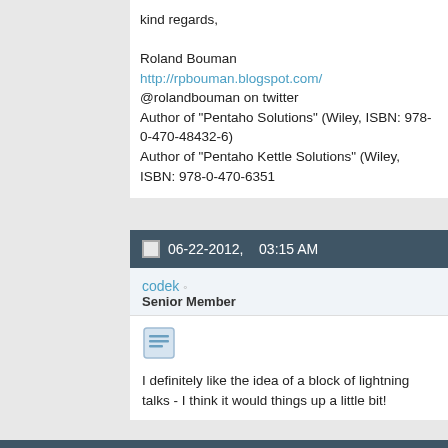kind regards,

Roland Bouman
http://rpbouman.blogspot.com/
@rolandbouman on twitter
Author of "Pentaho Solutions" (Wiley, ISBN: 978-0-470-48432-6)
Author of "Pentaho Kettle Solutions" (Wiley, ISBN: 978-0-470-6351...
06-22-2012,    03:15 AM
codek
Senior Member
I definitely like the idea of a block of lightning talks - I think it would things up a little bit!

And how about a battle? I Can think of a pretty simple headline "Bi... sure Jos will captain one side hehe